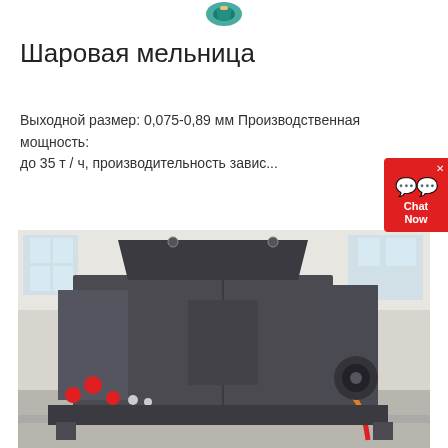[Figure (logo): Company logo at top center, teal/green colored icon]
Шаровая мельница
Выходной размер: 0,075-0,89 мм Производственная мощность: до 35 т / ч, производительность завис...
[Figure (photo): Large industrial ball mill machine in dark grey color, photographed inside a factory/warehouse with high ceilings and large windows. The machine has a rectangular body with red circular markings at the base and orange/red cable visible.]